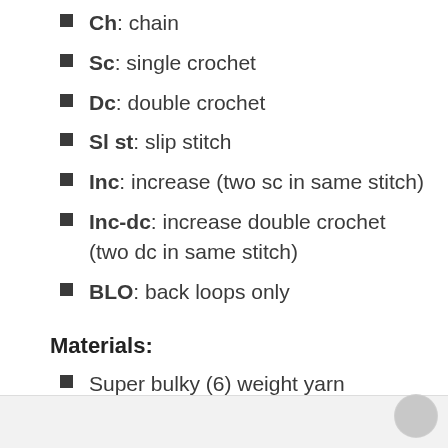Ch: chain
Sc: single crochet
Dc: double crochet
Sl st: slip stitch
Inc: increase (two sc in same stitch)
Inc-dc: increase double crochet (two dc in same stitch)
BLO: back loops only
Materials:
Super bulky (6) weight yarn (I used one skein of Lionbrand's